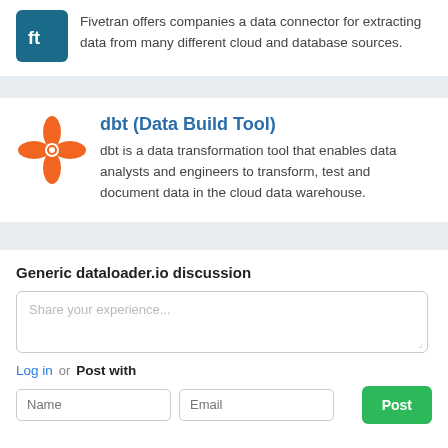[Figure (logo): Fivetran logo - dark teal square with white 'ft' letters]
Fivetran offers companies a data connector for extracting data from many different cloud and database sources.
[Figure (logo): dbt logo - orange star/asterisk shape]
dbt (Data Build Tool)
dbt is a data transformation tool that enables data analysts and engineers to transform, test and document data in the cloud data warehouse.
Generic dataloader.io discussion